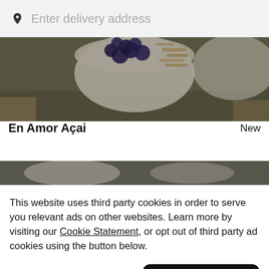Enter delivery address
[Figure (photo): Bowl of acai topped with blueberries and granola, food photo for En Amor Açai restaurant]
En Amor Açai
New
[Figure (photo): Partial food photo, dark background, partially visible below restaurant listing]
This website uses third party cookies in order to serve you relevant ads on other websites. Learn more by visiting our Cookie Statement, or opt out of third party ad cookies using the button below.
Opt out
Got it